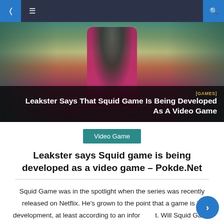Navigation bar with menu icons and search
[Figure (photo): Hero image from Squid Game Netflix series showing a person in a pink/magenta hoodie from behind, surrounded by players in teal tracksuits on a sandy ground. Overlay text reads: [GAMES] Leakster Says That Squid Game Is Being Developed As A Video Game]
[GAMES] Leakster Says That Squid Game Is Being Developed As A Video Game
Video Game
Leakster says Squid game is being developed as a video game – Pokde.Net
Squid Game was in the spotlight when the series was recently released on Netflix. He's grown to the point that a game is in development, at least according to an informant. Will Squid Game arrive as a video game? Apparently, a "SQUID GAME" type game is already in development. I am not